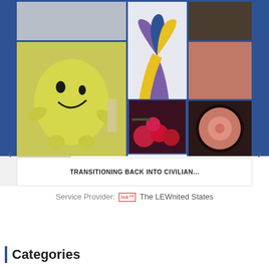[Figure (photo): Collage of medical/bladder cancer awareness photos: a person in medical setting, endoscopy image, cables on pillow, yellow bladder plush toy, endoscopy view, nurse in scrubs with crown, hospital scene with patient, flowers, purple/yellow/blue awareness ribbon. Slide navigation arrows visible.]
TRANSITIONING BACK INTO CIVILIAN...
Service Provider: The LEWnited States
Categories